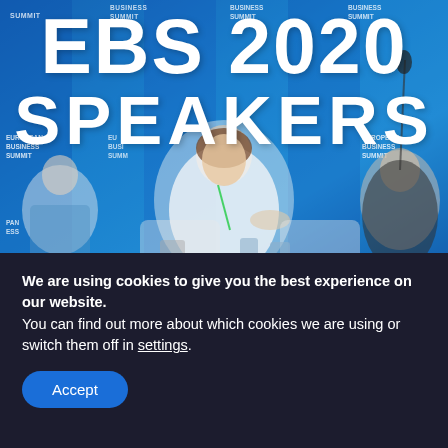[Figure (photo): Photo of EBS 2020 Speakers page hero image showing panelists seated at a conference with European Business Summit branded blue backdrop. Large white text overlaid: 'EBS 2020 SPEAKERS'.]
EBS 2020 SPEAKERS
[Figure (photo): Partial speaker profile card with gray background showing top of a person's head.]
We are using cookies to give you the best experience on our website.
You can find out more about which cookies we are using or switch them off in settings.
Accept